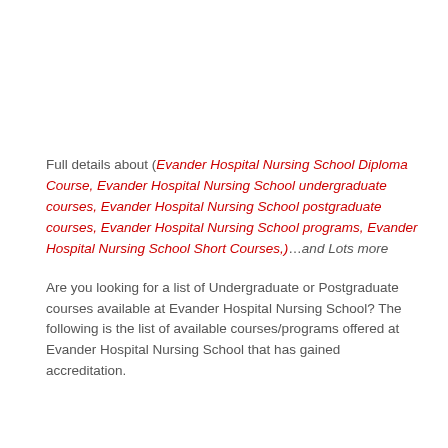Full details about (Evander Hospital Nursing School Diploma Course, Evander Hospital Nursing School undergraduate courses, Evander Hospital Nursing School postgraduate courses, Evander Hospital Nursing School programs, Evander Hospital Nursing School Short Courses,)…and Lots more
Are you looking for a list of Undergraduate or Postgraduate courses available at Evander Hospital Nursing School? The following is the list of available courses/programs offered at Evander Hospital Nursing School that has gained accreditation.